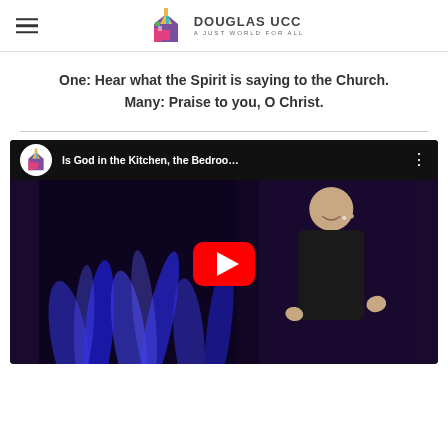DOUGLAS UCC — A JUST WORLD FOR ALL
One: Hear what the Spirit is saying to the Church.
Many: Praise to you, O Christ.
[Figure (screenshot): YouTube video thumbnail showing a presenter on stage with blue flame background, title 'Is God in the Kitchen, the Bedroo...' with Douglas UCC channel icon and play button overlay]